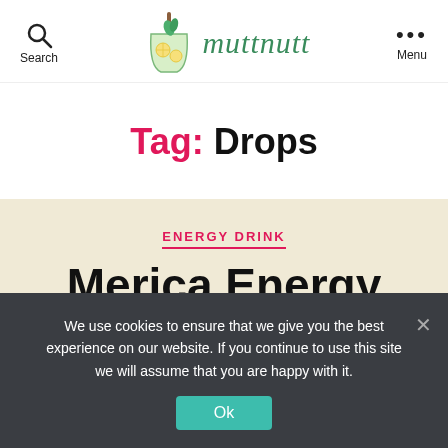Search | muttnutt | Menu
Tag: Drops
ENERGY DRINK
Merica Energy BLUE
We use cookies to ensure that we give you the best experience on our website. If you continue to use this site we will assume that you are happy with it.